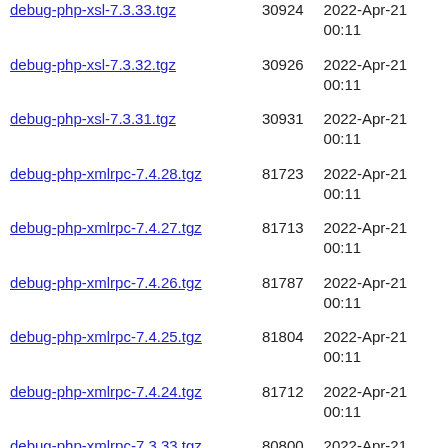| Name | Size | Date |
| --- | --- | --- |
| debug-php-xsl-7.3.33.tgz | 30924 | 2022-Apr-21 00:11 |
| debug-php-xsl-7.3.32.tgz | 30926 | 2022-Apr-21 00:11 |
| debug-php-xsl-7.3.31.tgz | 30931 | 2022-Apr-21 00:11 |
| debug-php-xmlrpc-7.4.28.tgz | 81723 | 2022-Apr-21 00:11 |
| debug-php-xmlrpc-7.4.27.tgz | 81713 | 2022-Apr-21 00:11 |
| debug-php-xmlrpc-7.4.26.tgz | 81787 | 2022-Apr-21 00:11 |
| debug-php-xmlrpc-7.4.25.tgz | 81804 | 2022-Apr-21 00:11 |
| debug-php-xmlrpc-7.4.24.tgz | 81712 | 2022-Apr-21 00:11 |
| debug-php-xmlrpc-7.3.33.tgz | 80800 | 2022-Apr-21 00:11 |
| debug-php-xmlrpc-7.3.32.tgz | 80745 | 2022-Apr-21 00:11 |
| debug-php-xmlrpc-7.3.31.tgz | 80864 | 2022-Apr-21 00:11 |
| debug-php-tidy-8.0.17.tgz | 43353 | 2022-Apr-21 00:11 |